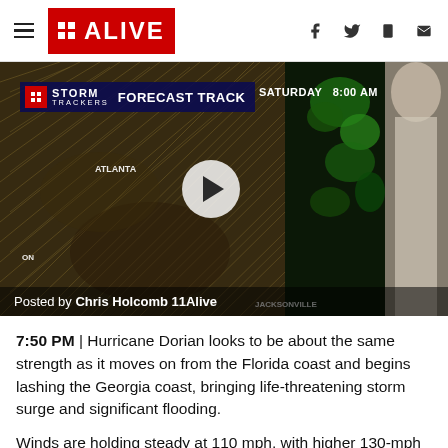11 ALIVE
[Figure (screenshot): Video thumbnail showing a TV weatherman in front of a storm tracker forecast track map display, with a play button overlay. Caption reads: Posted by Chris Holcomb 11Alive. Storm Trackers Forecast Track Saturday 8:00 AM shown on screen.]
7:50 PM | Hurricane Dorian looks to be about the same strength as it moves on from the Florida coast and begins lashing the Georgia coast, bringing life-threatening storm surge and significant flooding.
Winds are holding steady at 110 mph, with higher 130-mph